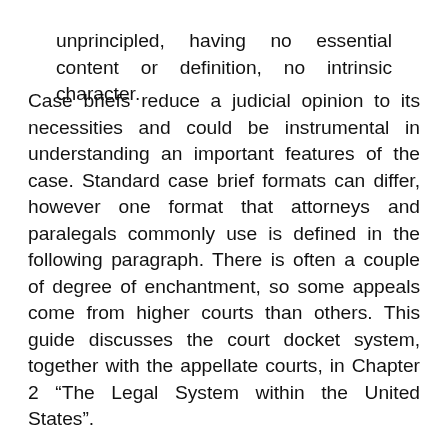unprincipled, having no essential content or definition, no intrinsic character.
Case briefs reduce a judicial opinion to its necessities and could be instrumental in understanding an important features of the case. Standard case brief formats can differ, however one format that attorneys and paralegals commonly use is defined in the following paragraph. There is often a couple of degree of enchantment, so some appeals come from higher courts than others. This guide discusses the court docket system, together with the appellate courts, in Chapter 2 “The Legal System within the United States”.